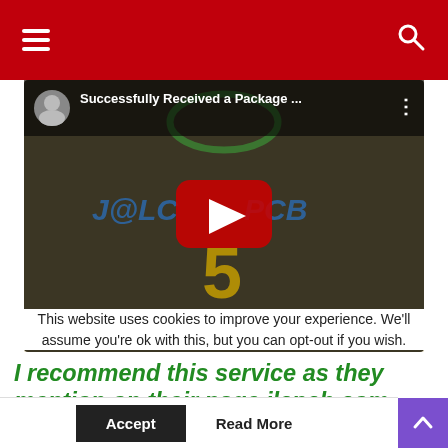Navigation header with hamburger menu and search icon
[Figure (screenshot): YouTube video embed showing 'Successfully Received a Package ...' with JLCPCB branding, a large '5' and stars, with play button overlay]
I recommend this service as they mention on their page jlcpcb.com.
This website uses cookies to improve your experience. We'll assume you're ok with this, but you can opt-out if you wish.
Accept   Read More